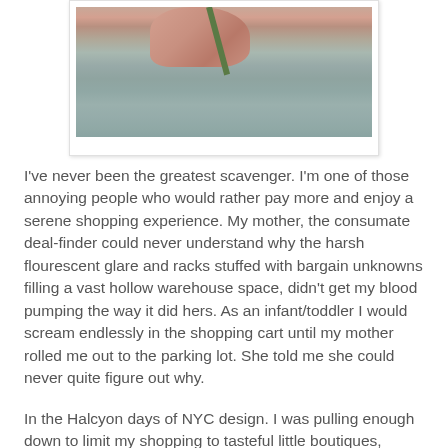[Figure (photo): A hand holding a flower stem against a distressed light teal/blue background, shown as a polaroid-style photo with white border]
I've never been the greatest scavenger. I'm one of those annoying people who would rather pay more and enjoy a serene shopping experience. My mother, the consumate deal-finder could never understand why the harsh flourescent glare and racks stuffed with bargain unknowns filling a vast hollow warehouse space, didn't get my blood pumping the way it did hers. As an infant/toddler I would scream endlessly in the shopping cart until my mother rolled me out to the parking lot. She told me she could never quite figure out why.
In the Halcyon days of NYC design. I was pulling enough down to limit my shopping to tasteful little boutiques, specializing in serenity, luxury, and the experience. "Care for a glass of champagne, Miss Oh? And may I assist from...